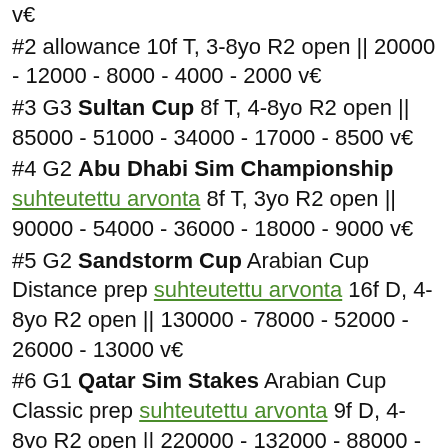v€
#2 allowance 10f T, 3-8yo R2 open || 20000 - 12000 - 8000 - 4000 - 2000 v€
#3 G3 Sultan Cup 8f T, 4-8yo R2 open || 85000 - 51000 - 34000 - 17000 - 8500 v€
#4 G2 Abu Dhabi Sim Championship suhteutettu arvonta 8f T, 3yo R2 open || 90000 - 54000 - 36000 - 18000 - 9000 v€
#5 G2 Sandstorm Cup Arabian Cup Distance prep suhteutettu arvonta 16f D, 4-8yo R2 open || 130000 - 78000 - 52000 - 26000 - 13000 v€
#6 G1 Qatar Sim Stakes Arabian Cup Classic prep suhteutettu arvonta 9f D, 4-8yo R2 open || 220000 - 132000 - 88000 - 44000 - 22000 v€
#7 G1 Sim Emir's Guard ...